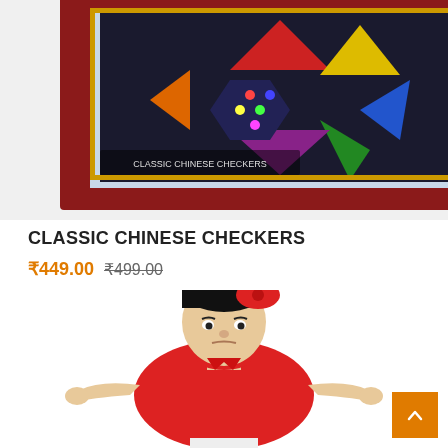[Figure (photo): Top portion of a Classic Chinese Checkers board game box with colorful board visible, dark red border, shown cropped from above]
CLASSIC CHINESE CHECKERS
₹449.00 ₹499.00
[Figure (photo): A hand puppet toy resembling a person wearing a red outfit and red headband with black hair, arms outstretched, displayed against white background]